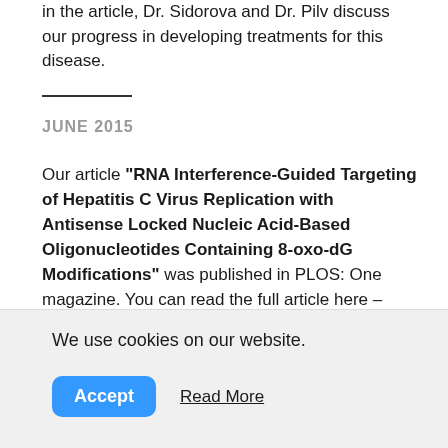in the article, Dr. Sidorova and Dr. Pilv discuss our progress in developing treatments for this disease.
JUNE 2015
Our article "RNA Interference-Guided Targeting of Hepatitis C Virus Replication with Antisense Locked Nucleic Acid-Based Oligonucleotides Containing 8-oxo-dG Modifications" was published in PLOS: One magazine. You can read the full article here – Genecode HCV publication
We use cookies on our website.
Accept   Read More